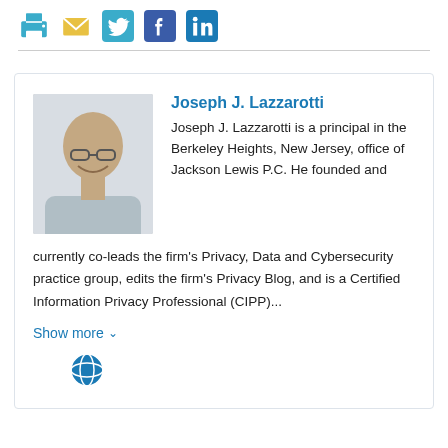[Figure (infographic): Social sharing icons row: print, email, Twitter, Facebook, LinkedIn]
Joseph J. Lazzarotti is a principal in the Berkeley Heights, New Jersey, office of Jackson Lewis P.C. He founded and currently co-leads the firm's Privacy, Data and Cybersecurity practice group, edits the firm's Privacy Blog, and is a Certified Information Privacy Professional (CIPP)...
Show more
[Figure (illustration): Globe icon]